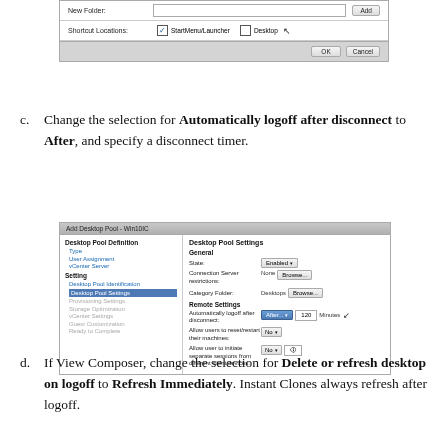[Figure (screenshot): Dialog box showing New Folder and Shortcut Locations fields with StartMenu/Launcher checked and Desktop unchecked, plus OK and Cancel buttons]
c. Change the selection for Automatically logoff after disconnect to After, and specify a disconnect timer.
[Figure (screenshot): Add Desktop Pool - Win10IC dialog showing Desktop Pool Settings panel with General and Remote Settings sections. Automatically logoff after disconnect is set to After with 120 Minutes.]
d. If View Composer, change the selection for Delete or refresh desktop on logoff to Refresh Immediately. Instant Clones always refresh after logoff.